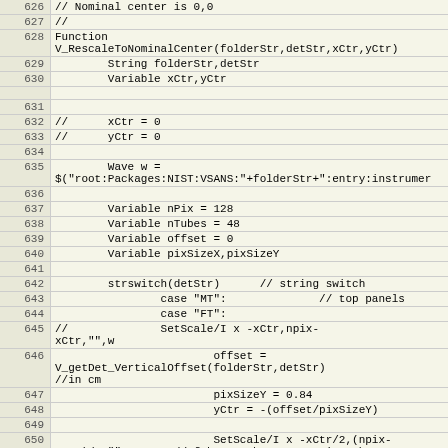| Line | Code |
| --- | --- |
| 626 | // Nominal center is 0,0 |
| 627 | // |
| 628 | Function
V_RescaleToNominalCenter(folderStr,detStr,xCtr,yCtr) |
| 629 |         String folderStr,detStr |
| 630 |         Variable xCtr,yCtr |
| 631 |  |
| 632 | //      xCtr = 0 |
| 633 | //      yCtr = 0 |
| 634 |  |
| 635 |         Wave w =
$("root:Packages:NIST:VSANS:"+folderStr+":entry:instrumer |
| 636 |  |
| 637 |         Variable nPix = 128 |
| 638 |         Variable nTubes = 48 |
| 639 |         Variable offset = 0 |
| 640 |         Variable pixSizeX,pixSizeY |
| 641 |  |
| 642 |         strswitch(detStr)      // string switch |
| 643 |                 case "MT":              // top panels |
| 644 |                 case "FT": |
| 645 | //              SetScale/I x -xCtr,npix-
xCtr,"",w |
| 646 |                         offset =
V_getDet_VerticalOffset(folderStr,detStr)
//in cm |
| 647 |                         pixSizeY = 0.84 |
| 648 |                         yCtr = -(offset/pixSizeY) |
| 649 |  |
| 650 |                         SetScale/I x -xCtr/2,(npix-
xCtr)/2,"",w      // fake 4mm by compressing the
scale |
| 651 |                         SetScale/I y -yCtr,nTubes- |